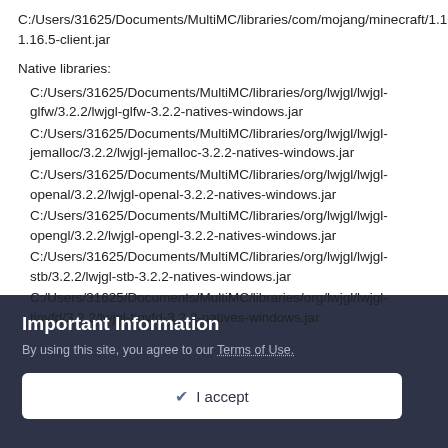C:/Users/31625/Documents/MultiMC/libraries/com/mojang/minecraft/1.16.5/minecraft-1.16.5-client.jar
Native libraries:
C:/Users/31625/Documents/MultiMC/libraries/org/lwjgl/lwjgl-glfw/3.2.2/lwjgl-glfw-3.2.2-natives-windows.jar
C:/Users/31625/Documents/MultiMC/libraries/org/lwjgl/lwjgl-jemalloc/3.2.2/lwjgl-jemalloc-3.2.2-natives-windows.jar
C:/Users/31625/Documents/MultiMC/libraries/org/lwjgl/lwjgl-openal/3.2.2/lwjgl-openal-3.2.2-natives-windows.jar
C:/Users/31625/Documents/MultiMC/libraries/org/lwjgl/lwjgl-opengl/3.2.2/lwjgl-opengl-3.2.2-natives-windows.jar
C:/Users/31625/Documents/MultiMC/libraries/org/lwjgl/lwjgl-stb/3.2.2/lwjgl-stb-3.2.2-natives-windows.jar
C:/Users/31625/Documents/MultiMC/libraries/org/lwjgl/lwjgl-tinyfd/3.2.2/lwjgl-tinyfd-3.2.2-natives-windows.jar
Important Information
By using this site, you agree to our Terms of Use.
✔ I accept